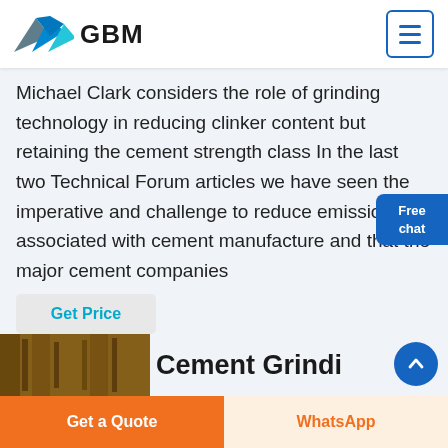[Figure (logo): GBM logo with blue mountain/arrow graphic and bold GBM text]
Michael Clark considers the role of grinding technology in reducing clinker content but retaining the cement strength class In the last two Technical Forum articles we have seen the imperative and challenge to reduce emissions associated with cement manufacture and that the major cement companies
Get Price
[Figure (photo): Industrial cement grinding facility interior photo]
Cement Grinding
Get a Quote
WhatsApp